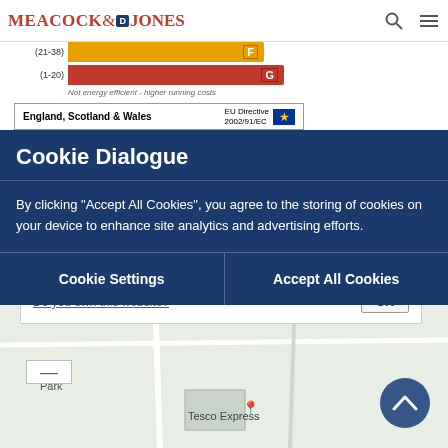[Figure (screenshot): Meacock & Jones estate agent website header with logo, search icon, and hamburger menu]
[Figure (infographic): Partial EPC energy efficiency chart showing ratings F (21-38) and G (1-20) with 'Not energy efficient - higher running costs' label and England, Scotland & Wales footer with EU Directive 2002/91/EC]
Cookie Dialogue
By clicking “Accept All Cookies”, you agree to the storing of cookies on your device to enhance site analytics and advertising efforts.
Cookie Settings
Accept All Cookies
This page can’t load Google Maps correctly.
Do you own this website?
OK
[Figure (map): Partial Google Maps view showing Brentwood Driving Test Centre, Tesco Express, and surrounding streets including Headley Chase]